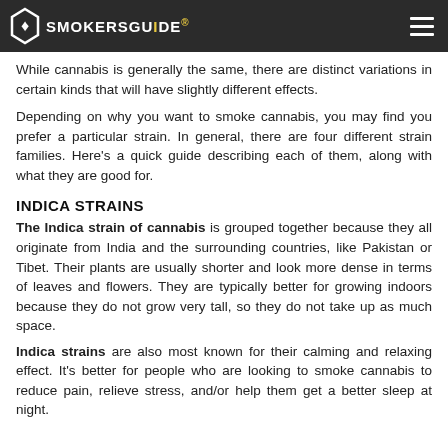SMOKERSGUIDE
While cannabis is generally the same, there are distinct variations in certain kinds that will have slightly different effects.
Depending on why you want to smoke cannabis, you may find you prefer a particular strain. In general, there are four different strain families. Here's a quick guide describing each of them, along with what they are good for.
INDICA STRAINS
The Indica strain of cannabis is grouped together because they all originate from India and the surrounding countries, like Pakistan or Tibet. Their plants are usually shorter and look more dense in terms of leaves and flowers. They are typically better for growing indoors because they do not grow very tall, so they do not take up as much space.
Indica strains are also most known for their calming and relaxing effect. It's better for people who are looking to smoke cannabis to reduce pain, relieve stress, and/or help them get a better sleep at night.